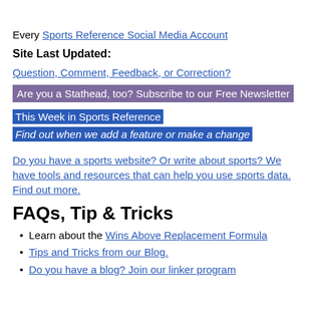Every Sports Reference Social Media Account
Site Last Updated:
Question, Comment, Feedback, or Correction?
Are you a Stathead, too? Subscribe to our Free Newsletter
This Week in Sports Reference
Find out when we add a feature or make a change
Do you have a sports website? Or write about sports? We have tools and resources that can help you use sports data. Find out more.
FAQs, Tip & Tricks
Learn about the Wins Above Replacement Formula
Tips and Tricks from our Blog.
Do you have a blog? Join our linker program